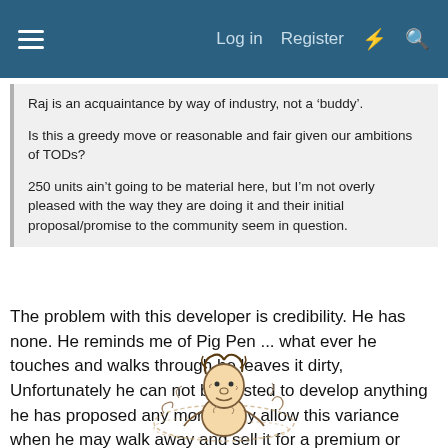Log in  Register
Raj is an acquaintance by way of industry, not a ‘buddy’.

Is this a greedy move or reasonable and fair given our ambitions of TODs?

250 units ain’t going to be material here, but I’m not overly pleased with the way they are doing it and their initial proposal/promise to the community seem in question.
The problem with this developer is credibility. He has none. He reminds me of Pig Pen ... what ever he touches and walks through he leaves it dirty, Unfortunately he can not be trusted to develop anything he has proposed any more. Why allow this variance when he may walk away and sell it for a premium or leave it in the ground undeveloped. Pig Pen is not worthy of any consideration until he cleans up the trash sites he has left behind
[Figure (illustration): Cartoon illustration of Pig Pen character from Peanuts, a messy child surrounded by a cloud of dirt/dust, shown from the chest up]